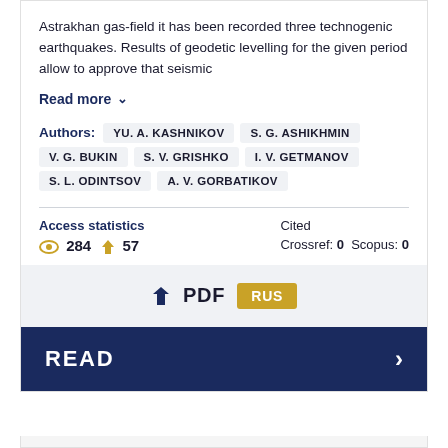Astrakhan gas-field it has been recorded three technogenic earthquakes. Results of geodetic levelling for the given period allow to approve that seismic
Read more ∨
Authors: YU. A. KASHNIKOV  S. G. ASHIKHMIN  V. G. BUKIN  S. V. GRISHKO  I. V. GETMANOV  S. L. ODINTSOV  A. V. GORBATIKOV
Access statistics
👁 284  ⬇ 57
Cited
Crossref: 0  Scopus: 0
⬇ PDF  RUS
READ  >